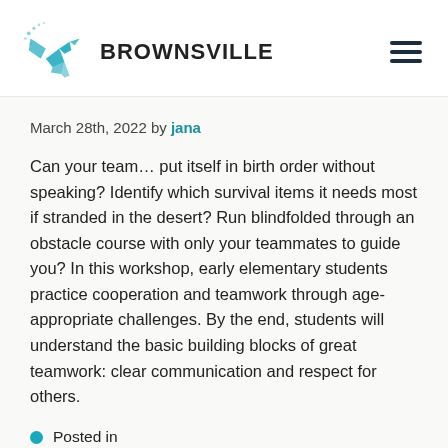BROWNSVILLE
March 28th, 2022 by jana
Can your team... put itself in birth order without speaking? Identify which survival items it needs most if stranded in the desert? Run blindfolded through an obstacle course with only your teammates to guide you? In this workshop, early elementary students practice cooperation and teamwork through age-appropriate challenges. By the end, students will understand the basic building blocks of great teamwork: clear communication and respect for others.
Posted in